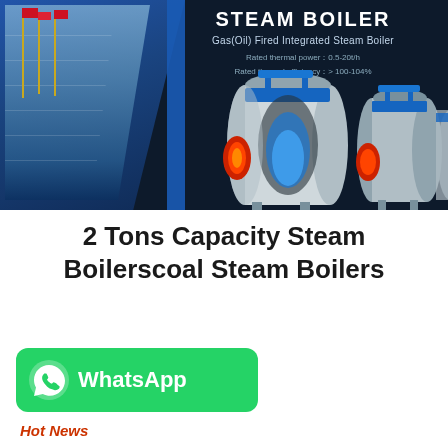[Figure (photo): Dark navy banner showing industrial steam boilers with building/flagpoles on the left and text overlay: STEAM BOILER, Gas(Oil) Fired Integrated Steam Boiler, Rated thermal power: 0.5-20t/h, Rated thermal efficiency: >100-104%]
2 Tons Capacity Steam Boilerscoal Steam Boilers
[Figure (logo): WhatsApp green rounded button with phone icon and WhatsApp text]
Hot News